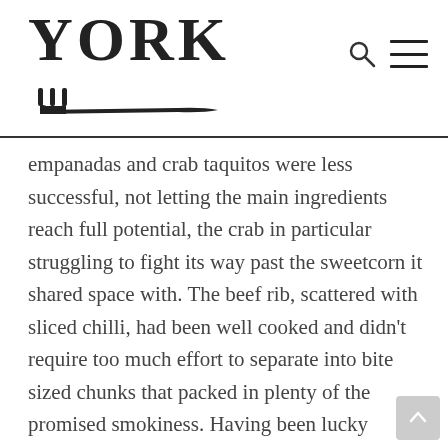YORK
empanadas and crab taquitos were less successful, not letting the main ingredients reach full potential, the crab in particular struggling to fight its way past the sweetcorn it shared space with. The beef rib, scattered with sliced chilli, had been well cooked and didn't require too much effort to separate into bite sized chunks that packed in plenty of the promised smokiness. Having been lucky enough to enjoy some really special beef rib in my time this was always going to suffer a little by comparison, but there's little to be disappointed in here for $19.95 in a buzzing